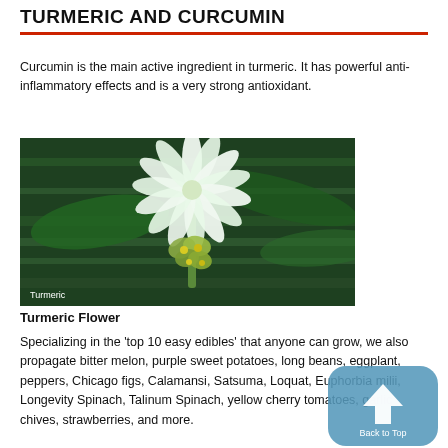TURMERIC AND CURCUMIN
Curcumin is the main active ingredient in turmeric. It has powerful anti-inflammatory effects and is a very strong antioxidant.
[Figure (photo): A turmeric flower — white petals with green and yellow inflorescence against a dark green background. Caption label 'Turmeric' appears at bottom left.]
Turmeric Flower
Specializing in the 'top 10 easy edibles' that anyone can grow, we also propagate bitter melon, purple sweet potatoes, long beans, eggplant, peppers, Chicago figs, Calamansi, Satsuma, Loquat, Euphorbia milii, Longevity Spinach, Talinum Spinach, yellow cherry tomatoes, garlic chives, strawberries, and more.